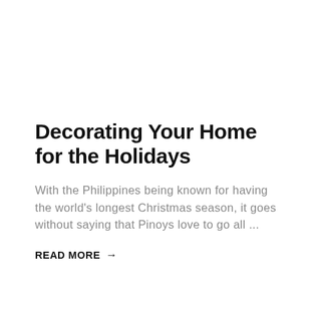Decorating Your Home for the Holidays
With the Philippines being known for having the world's longest Christmas season, it goes without saying that Pinoys love to go all ...
READ MORE →